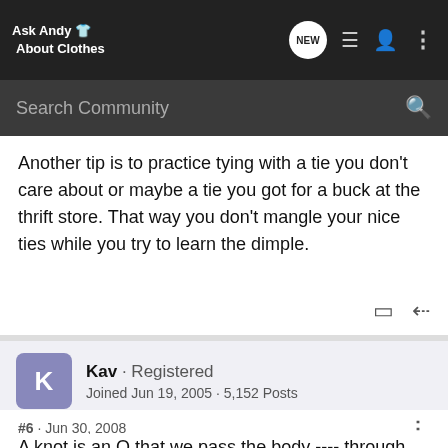Ask Andy About Clothes
Another tip is to practice tying with a tie you don't care about or maybe a tie you got for a buck at the thrift store. That way you don't mangle your nice ties while you try to learn the dimple.
Kav · Registered
Joined Jun 19, 2005 · 5,152 Posts
#6 · Jun 30, 2008
A knot is an O that we pass the body ---- through. As we contrict the material down our ---- will fold into a W. The increased area of contact in a decreased circumferance serves to lock the tie into a secure and neat assembly. If you delete the dimple for a